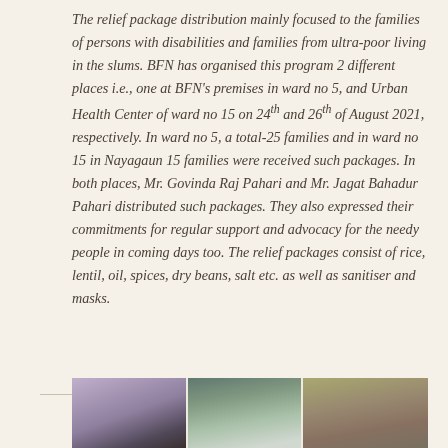The relief package distribution mainly focused to the families of persons with disabilities and families from ultra-poor living in the slums. BFN has organised this program 2 different places i.e., one at BFN's premises in ward no 5, and Urban Health Center of ward no 15 on 24th and 26th of August 2021, respectively. In ward no 5, a total-25 families and in ward no 15 in Nayagaun 15 families were received such packages. In both places, Mr. Govinda Raj Pahari and Mr. Jagat Bahadur Pahari distributed such packages. They also expressed their commitments for regular support and advocacy for the needy people in coming days too. The relief packages consist of rice, lentil, oil, spices, dry beans, salt etc. as well as sanitiser and masks.
[Figure (photo): Three-panel photo showing people receiving relief packages. Left panel shows a person near a purple wall, center panel shows a person in full PPE/face shield distributing packages to a man in traditional Nepali cap holding a child, right panel shows an elderly man in traditional Nepali cap and blue mask with others in background.]